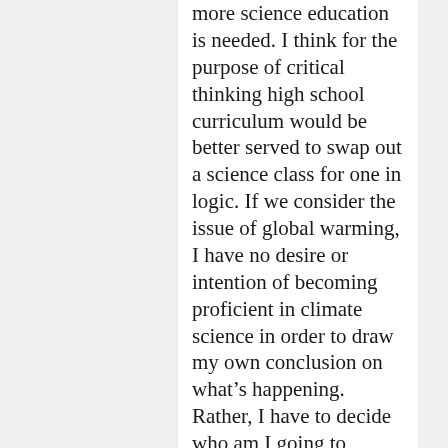more science education is needed. I think for the purpose of critical thinking high school curriculum would be better served to swap out a science class for one in logic. If we consider the issue of global warming, I have no desire or intention of becoming proficient in climate science in order to draw my own conclusion on what's happening. Rather, I have to decide who am I going to believe. There are scientists, corporations,